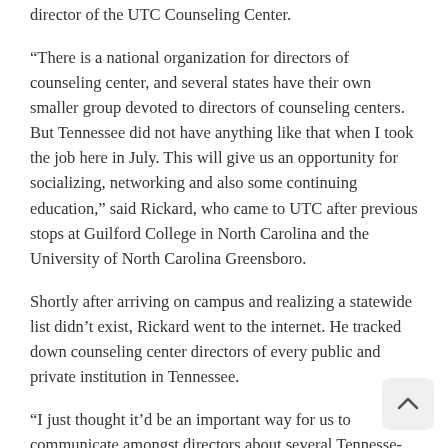director of the UTC Counseling Center.
“There is a national organization for directors of counseling center, and several states have their own smaller group devoted to directors of counseling centers. But Tennessee did not have anything like that when I took the job here in July. This will give us an opportunity for socializing, networking and also some continuing education,” said Rickard, who came to UTC after previous stops at Guilford College in North Carolina and the University of North Carolina Greensboro.
Shortly after arriving on campus and realizing a statewide list didn’t exist, Rickard went to the internet. He tracked down counseling center directors of every public and private institution in Tennessee.
“I just thought it’d be an important way for us to communicate amongst directors about several Tennessee-specific mental health guidelines, state-specific legislation